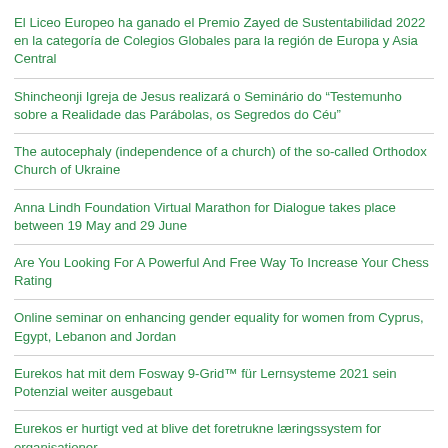El Liceo Europeo ha ganado el Premio Zayed de Sustentabilidad 2022 en la categoría de Colegios Globales para la región de Europa y Asia Central
Shincheonji Igreja de Jesus realizará o Seminário do “Testemunho sobre a Realidade das Parábolas, os Segredos do Céu”
The autocephaly (independence of a church) of the so-called Orthodox Church of Ukraine
Anna Lindh Foundation Virtual Marathon for Dialogue takes place between 19 May and 29 June
Are You Looking For A Powerful And Free Way To Increase Your Chess Rating
Online seminar on enhancing gender equality for women from Cyprus, Egypt, Lebanon and Jordan
Eurekos hat mit dem Fosway 9-Grid™ für Lernsysteme 2021 sein Potenzial weiter ausgebaut
Eurekos er hurtigt ved at blive det foretrukne læringssystem for organisationer